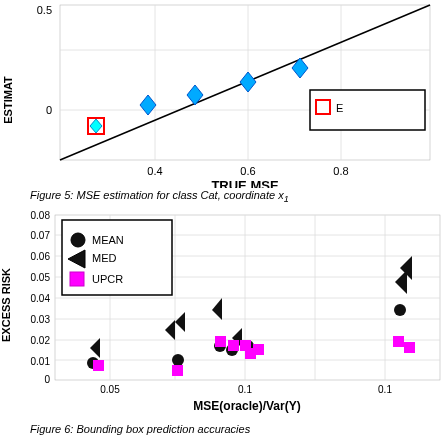[Figure (scatter-plot): Scatter plot showing true MSE vs estimated MSE for class Cat coordinate x1, with diamond markers in blue/cyan and a red square marker, plus a diagonal reference line. Top portion of chart visible.]
Figure 5: MSE estimation for class Cat, coordinate x 1
[Figure (scatter-plot): Scatter plot showing MSE(oracle)/Var(Y) vs Excess Risk with three series: MEAN (black circles), MED (black right-pointing triangles), UPCR (magenta squares). Values range from about 0.03 to 0.12 on x-axis and 0 to 0.08 on y-axis.]
Figure 6: Bounding box prediction accuracies